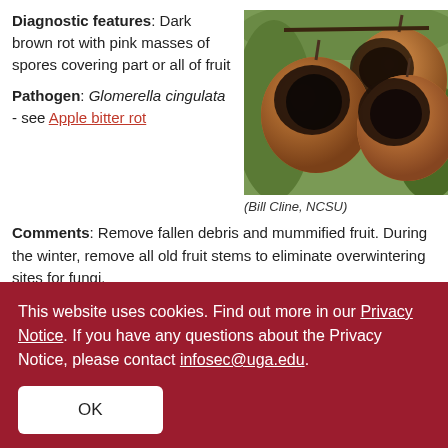Diagnostic features: Dark brown rot with pink masses of spores covering part or all of fruit
[Figure (photo): Close-up photo of apples on a tree showing dark brown rot disease (bitter rot), with large dark lesions covering the fruit surface]
(Bill Cline, NCSU)
Pathogen: Glomerella cingulata - see Apple bitter rot
Comments: Remove fallen debris and mummified fruit. During the winter, remove all old fruit stems to eliminate overwintering sites for fungi.
Macrophoma rot
This website uses cookies. Find out more in our Privacy Notice. If you have any questions about the Privacy Notice, please contact infosec@uga.edu.
OK